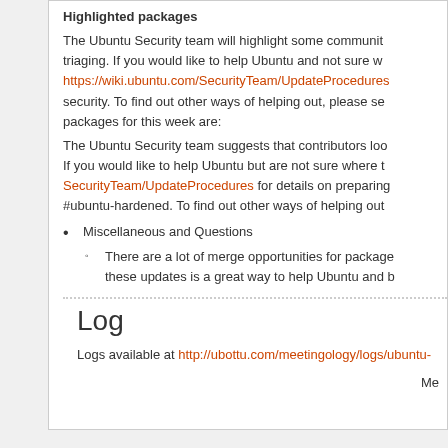Highlighted packages
The Ubuntu Security team will highlight some community packages that need triaging. If you would like to help Ubuntu and not sure where, https://wiki.ubuntu.com/SecurityTeam/UpdateProcedures security. To find out other ways of helping out, please see packages for this week are:
The Ubuntu Security team suggests that contributors look at these. If you would like to help Ubuntu but are not sure where to start, SecurityTeam/UpdateProcedures for details on preparing #ubuntu-hardened. To find out other ways of helping out
Miscellaneous and Questions
There are a lot of merge opportunities for packages these updates is a great way to help Ubuntu and b
Log
Logs available at http://ubottu.com/meetingology/logs/ubuntu-
Me